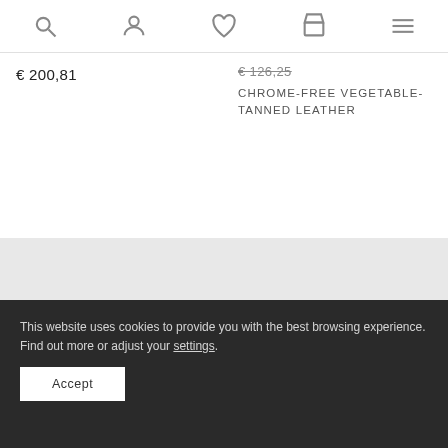[Figure (screenshot): Navigation bar with search, account, wishlist, cart, and menu icons]
€ 200,81
€ 126,25
CHROME-FREE VEGETABLE-TANNED LEATHER
INFO
Customer Service
This website uses cookies to provide you with the best browsing experience. Find out more or adjust your settings.
Accept